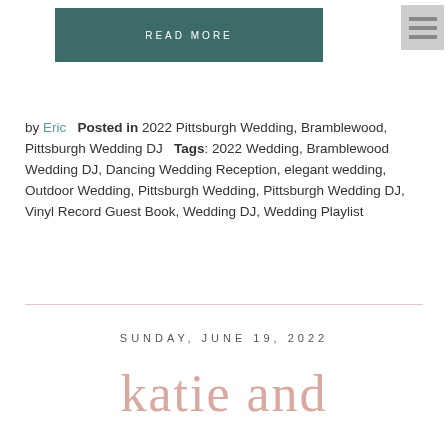[Figure (other): READ MORE button — teal/dark green rectangular button with white spaced uppercase text 'READ MORE']
[Figure (other): Hamburger menu icon — grey square with three horizontal dark grey lines]
by Eric   Posted in 2022 Pittsburgh Wedding, Bramblewood, Pittsburgh Wedding DJ   Tags: 2022 Wedding, Bramblewood Wedding DJ, Dancing Wedding Reception, elegant wedding, Outdoor Wedding, Pittsburgh Wedding, Pittsburgh Wedding DJ, Vinyl Record Guest Book, Wedding DJ, Wedding Playlist
SUNDAY, JUNE 19, 2022
katie and